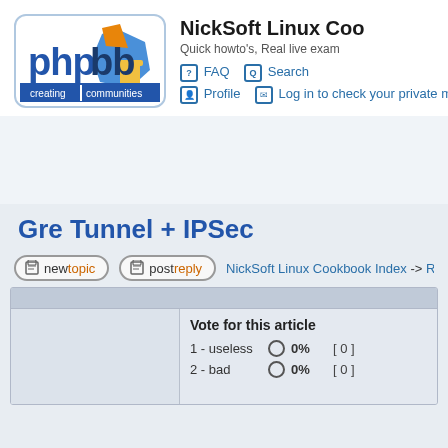[Figure (logo): phpBB logo — blue text 'phpbb' with colored geometric shapes (blue hexagon, orange triangle, yellow cup), tagline 'creating communities' in white on blue]
NickSoft Linux Cookbook
Quick howto's, Real live examples
FAQ  Search
Profile   Log in to check your private messages
Gre Tunnel + IPSec
new topic   post reply   NickSoft Linux Cookbook Index -> Routing, F
|  |  |  |
| --- | --- | --- |
| Vote for this article |  |  |
| 1 - useless | ○ 0% | [0] |
| 2 - bad | ○ 0% | [0] |